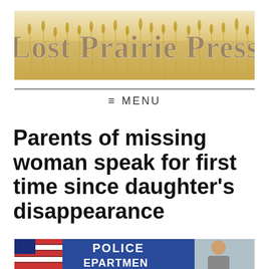[Figure (logo): Lost Prairie Press banner logo with wheat field background and stylized text]
≡ MENU
Parents of missing woman speak for first time since daughter's disappearance
[Figure (photo): Partial photo showing police department sign and people at what appears to be a press conference]